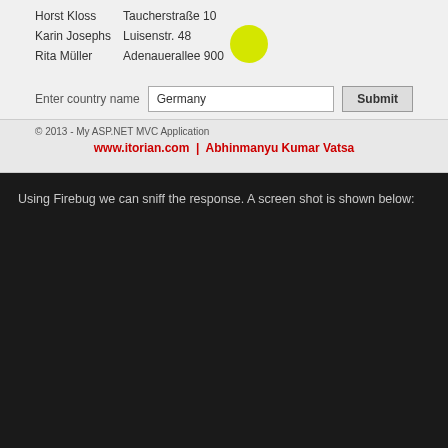[Figure (screenshot): ASP.NET MVC web application showing a table with customer names and addresses (Horst Kloss - Taucherstraße 10, Karin Josephs - Luisenstr. 48, Rita Müller - Adenauerallee 900), a form with 'Enter country name' label, 'Germany' text input, and 'Submit' button, with a yellow circle cursor highlight. Footer shows copyright '© 2013 - My ASP.NET MVC Application' and 'www.itorian.com | Abhinmanyu Kumar Vatsa' in red.]
Using Firebug we can sniff the response. A screen shot is shown below:
[Figure (screenshot): Firebug Lite 1.4.0 in Google Chrome showing a GET request to /Home/CustomerList/Mexico returning 200 OK 13ms. The JSON response tab shows contact data: Ana Trujillo (Avda. de la Constitución 2222), Antonio Moreno (Mataderos 2312), Francisco Chang (Sierras de Granada 9993), Guillermo Fernández (Calle Dr. Jorge Cash 321), Miguel Angel Paolino (Avda. Azteca 123).]